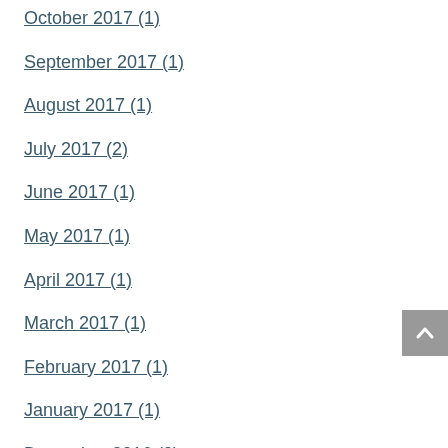October 2017 (1)
September 2017 (1)
August 2017 (1)
July 2017 (2)
June 2017 (1)
May 2017 (1)
April 2017 (1)
March 2017 (1)
February 2017 (1)
January 2017 (1)
December 2016 (2)
October 2016 (2)